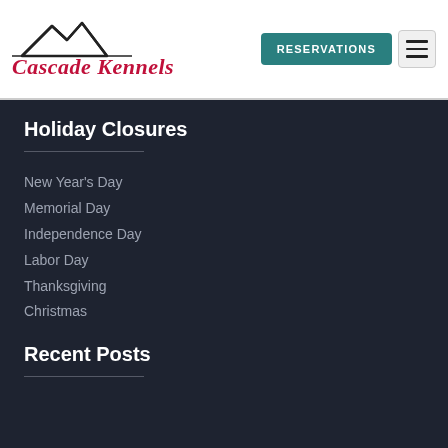[Figure (logo): Cascade Kennels logo with mountain silhouette and cursive text]
Holiday Closures
New Year's Day
Memorial Day
Independence Day
Labor Day
Thanksgiving
Christmas
Recent Posts